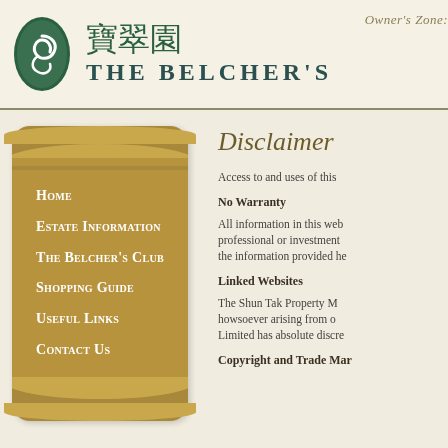[Figure (logo): The Belcher's oval green swirl logo with Chinese characters 寶翠園 and English text THE BELCHER'S]
Owner's Zone:
Home
Estate Information
THE Belcher's Club
Shopping Guide
Useful Links
Contact Us
Disclaimer
Access to and uses of this
No Warranty
All information in this web professional or investment the information provided he
Linked Websites
The Shun Tak Property M howsoever arising from o Limited has absolute discre
Copyright and Trade Mar